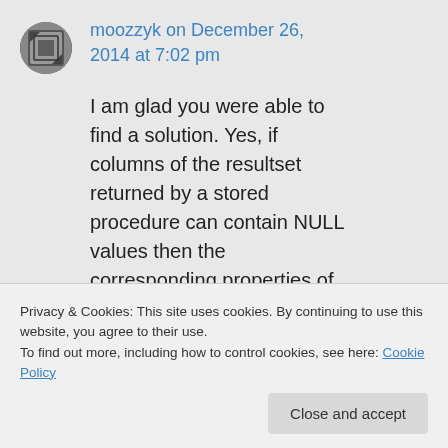moozzyk on December 26, 2014 at 7:02 pm
I am glad you were able to find a solution. Yes, if columns of the resultset returned by a stored procedure can contain NULL values then the corresponding properties of
Privacy & Cookies: This site uses cookies. By continuing to use this website, you agree to their use.
To find out more, including how to control cookies, see here: Cookie Policy
Close and accept
to be part of the model. I